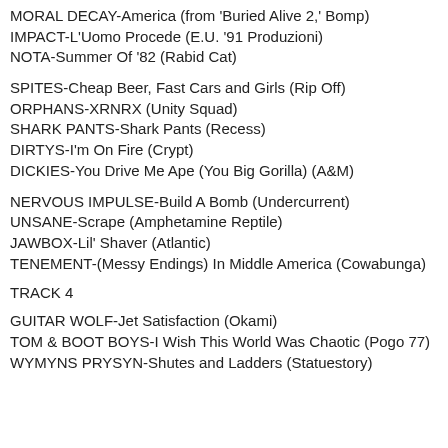MORAL DECAY-America (from 'Buried Alive 2,' Bomp)
IMPACT-L'Uomo Procede (E.U. '91 Produzioni)
NOTA-Summer Of '82 (Rabid Cat)
SPITES-Cheap Beer, Fast Cars and Girls (Rip Off)
ORPHANS-XRNRX (Unity Squad)
SHARK PANTS-Shark Pants (Recess)
DIRTYS-I'm On Fire (Crypt)
DICKIES-You Drive Me Ape (You Big Gorilla) (A&M)
NERVOUS IMPULSE-Build A Bomb (Undercurrent)
UNSANE-Scrape (Amphetamine Reptile)
JAWBOX-Lil' Shaver (Atlantic)
TENEMENT-(Messy Endings) In Middle America (Cowabunga)
TRACK 4
GUITAR WOLF-Jet Satisfaction (Okami)
TOM & BOOT BOYS-I Wish This World Was Chaotic (Pogo 77)
WYMYNS PRYSYN-Shutes and Ladders (Statuestory)